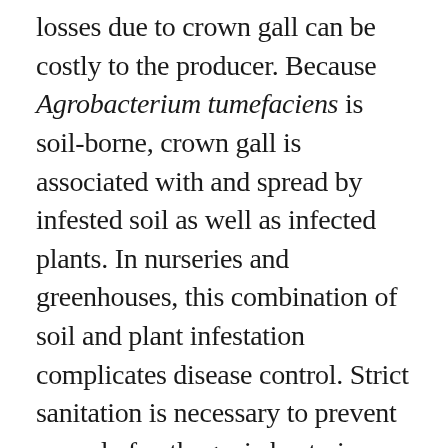losses due to crown gall can be costly to the producer. Because Agrobacterium tumefaciens is soil-borne, crown gall is associated with and spread by infested soil as well as infected plants. In nurseries and greenhouses, this combination of soil and plant infestation complicates disease control. Strict sanitation is necessary to prevent spread of pathogenic bacteria during vegetative propagation by cuttings or grafting. It is imperative that stock plants grown for cuttings be free of crown gall. Tools used for grafting or budding should be dipped in a solution of 20% commercial bleach or a 1/2% solution of potassium permanganate to prevent spread.